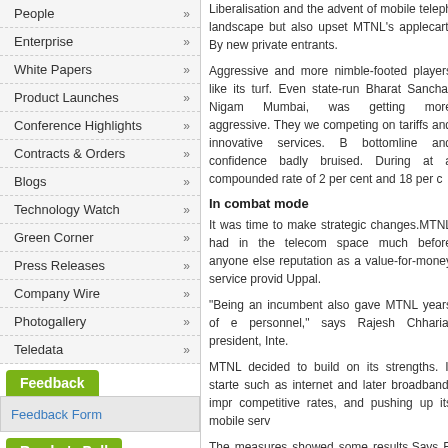People »
Enterprise »
White Papers »
Product Launches »
Conference Highlights »
Contracts & Orders »
Blogs »
Technology Watch »
Green Corner »
Press Releases »
Company Wire »
Photogallery »
Teledata »
Feedback
Feedback Form
Reader's Poll
Which of the following technologies/concepts are likely to witness significant traction
Liberalisation and the advent of mobile teleph landscape but also upset MTNL's applecart. By new private entrants.
Aggressive and more nimble-footed players like its turf. Even state-run Bharat Sanchar Nigam Mumbai, was getting more aggressive. They we competing on tariffs and innovative services. B bottomline and confidence badly bruised. During at a compounded rate of 2 per cent and 18 per c
In combat mode
It was time to make strategic changes.MTNL had in the telecom space much before anyone else reputation as a value-for-money service provid Uppal.
"Being an incumbent also gave MTNL years of e personnel," says Rajesh Chharia, president, Inte.
MTNL decided to build on its strengths. It starte such as internet and later broadband, impr competitive rates, and pushing up its mobile serv
The measures showed some results.Says R S D